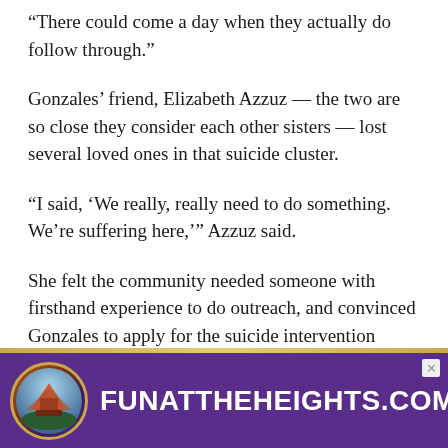“There could come a day when they actually do follow through.”
Gonzales’ friend, Elizabeth Azzuz — the two are so close they consider each other sisters — lost several loved ones in that suicide cluster.
“I said, ‘We really, really need to do something. We’re suffering here,’” Azzuz said.
She felt the community needed someone with firsthand experience to do outreach, and convinced Gonzales to apply for the suicide intervention specialist position. Gonzales trained local police and fire departments and taught her neighbors not to assume their loved ones were
[Figure (other): Advertisement banner for FUNATTHEHEIGHTS.COM with purple background, gold bar accent, circular logo showing a building/venue, and bold white uppercase text.]